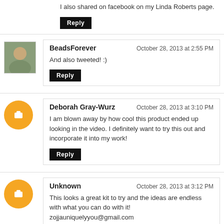I also shared on facebook on my Linda Roberts page.
Reply
BeadsForever — October 28, 2013 at 2:55 PM
And also tweeted! :)
Reply
Deborah Gray-Wurz — October 28, 2013 at 3:10 PM
I am blown away by how cool this product ended up looking in the video. I definitely want to try this out and incorporate it into my work!
Reply
Unknown — October 28, 2013 at 3:12 PM
This looks a great kit to try and the ideas are endless with what you can do with it! zojjauniquelyyou@gmail.com
Reply